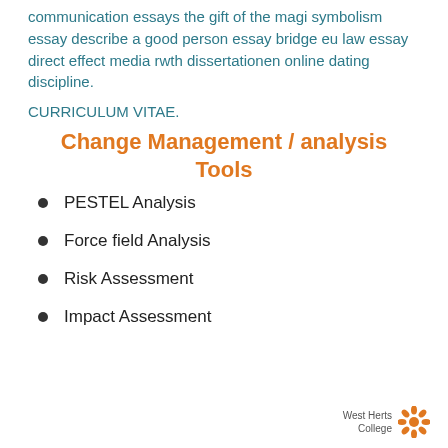communication essays the gift of the magi symbolism essay describe a good person essay bridge eu law essay direct effect media rwth dissertationen online dating discipline.
CURRICULUM VITAE.
Change Management / analysis Tools
PESTEL Analysis
Force field Analysis
Risk Assessment
Impact Assessment
West Herts College